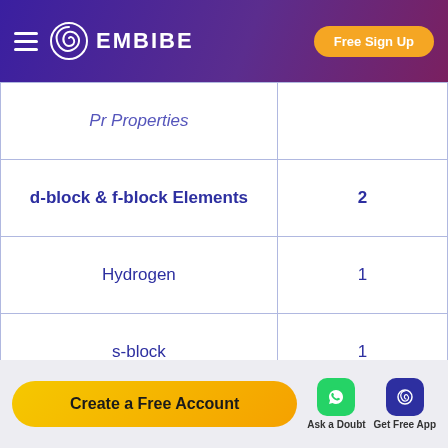[Figure (logo): Embibe logo and navigation header with purple gradient background and Free Sign Up button]
| Topic | Count |
| --- | --- |
| Pr Properties |  |
| d-block & f-block Elements | 2 |
| Hydrogen | 1 |
| s-block | 1 |
| Metallurgy | 1 |
| Qualitative Analysis | 1 |
[Figure (other): Footer with Create a Free Account button, Ask a Doubt (WhatsApp icon), and Get Free App (Embibe app icon)]